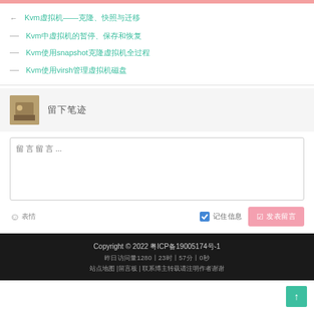← Kvm虚拟机——克隆、快照与迁移
— Kvm中虚拟机的暂停、保存和恢复
— Kvm使用snapshot克隆虚拟机全过程
— Kvm使用virsh管理虚拟机磁盘
留下笔迹
留 言 留 言 ...
😊 表情  ☑ 记住信息  ✅ 发表留言
Copyright © 2022 粤ICP备19005174号-1 | 昨日访问量1280丨23时丨57分丨0秒 | 站点地图 |留言板 | 联系博主转载请注明作者谢谢
↑